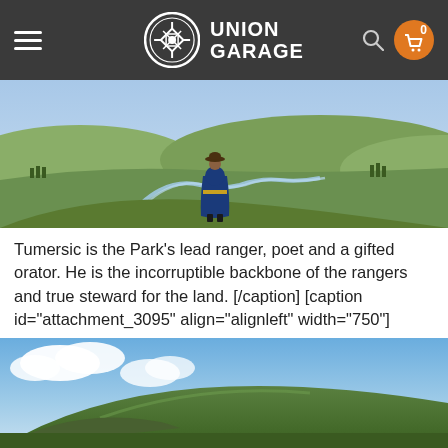UNION GARAGE
[Figure (photo): Person in blue robe and hat standing on a hillside overlooking a vast green valley with a winding river]
Tumersic is the Park's lead ranger, poet and a gifted orator. He is the incorruptible backbone of the rangers and true steward for the land. [/caption] [caption id="attachment_3095" align="alignleft" width="750"]
[Figure (photo): Rolling green hills under a blue sky with white clouds]